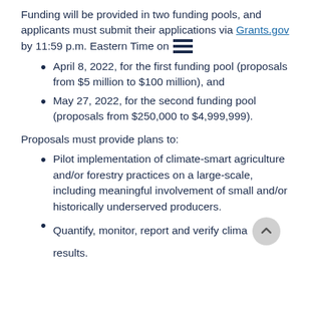Funding will be provided in two funding pools, and applicants must submit their applications via Grants.gov by 11:59 p.m. Eastern Time on
April 8, 2022, for the first funding pool (proposals from $5 million to $100 million), and
May 27, 2022, for the second funding pool (proposals from $250,000 to $4,999,999).
Proposals must provide plans to:
Pilot implementation of climate-smart agriculture and/or forestry practices on a large-scale, including meaningful involvement of small and/or historically underserved producers.
Quantify, monitor, report and verify clim… results.